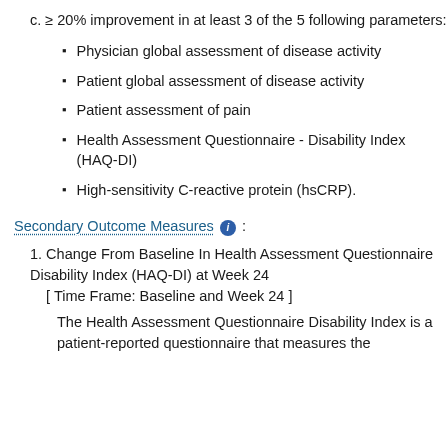c. ≥ 20% improvement in at least 3 of the 5 following parameters:
Physician global assessment of disease activity
Patient global assessment of disease activity
Patient assessment of pain
Health Assessment Questionnaire - Disability Index (HAQ-DI)
High-sensitivity C-reactive protein (hsCRP).
Secondary Outcome Measures :
1. Change From Baseline In Health Assessment Questionnaire Disability Index (HAQ-DI) at Week 24 [ Time Frame: Baseline and Week 24 ]
The Health Assessment Questionnaire Disability Index is a patient-reported questionnaire that measures the